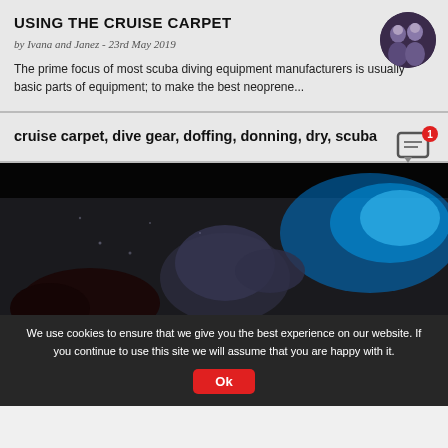USING THE CRUISE CARPET
by Ivana and Janez - 23rd May 2019
The prime focus of most scuba diving equipment manufacturers is usually basic parts of equipment; to make the best neoprene...
[Figure (photo): Circular author avatar photo of two people in diving gear]
cruise carpet, dive gear, doffing, donning, dry, scuba
[Figure (photo): Underwater photo showing scuba diving equipment including a dry suit in dark water with blue lighting]
We use cookies to ensure that we give you the best experience on our website. If you continue to use this site we will assume that you are happy with it.